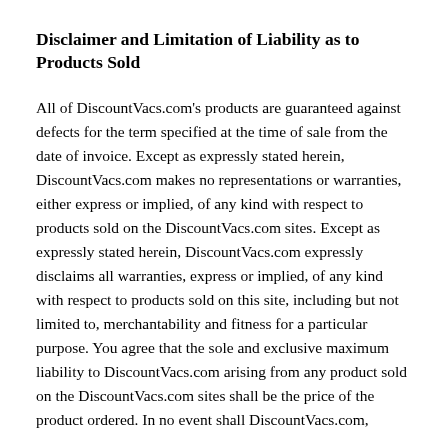Disclaimer and Limitation of Liability as to Products Sold
All of DiscountVacs.com's products are guaranteed against defects for the term specified at the time of sale from the date of invoice. Except as expressly stated herein, DiscountVacs.com makes no representations or warranties, either express or implied, of any kind with respect to products sold on the DiscountVacs.com sites. Except as expressly stated herein, DiscountVacs.com expressly disclaims all warranties, express or implied, of any kind with respect to products sold on this site, including but not limited to, merchantability and fitness for a particular purpose. You agree that the sole and exclusive maximum liability to DiscountVacs.com arising from any product sold on the DiscountVacs.com sites shall be the price of the product ordered. In no event shall DiscountVacs.com,